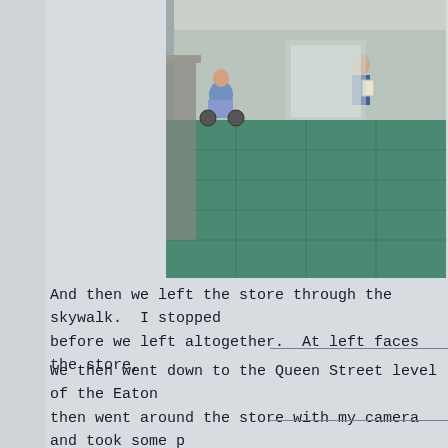[Figure (photo): Photo of a skywalk corridor in a mall/store. A person in a wheelchair is visible at left, another person with a shopping bag is visible in the background. The floor is green/teal tiled.]
And then we left the store through the skywalk.  I stopped before we left altogether.  At left faces the store,
We then went down to the Queen Street level of the Eaton then went around the store with my camera and took some p
[Figure (photo): Photo of two people posing together in what appears to be inside a mall. One person is wearing a white shirt with text 'JAMES', another is leaning against them wearing a blue top.]